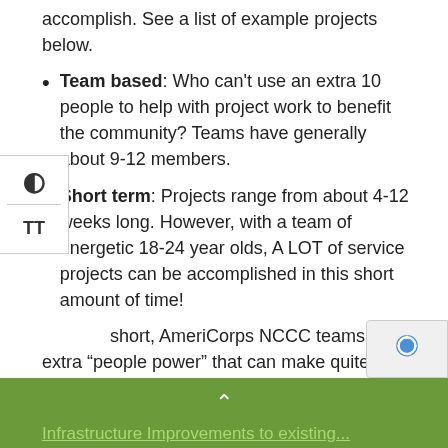accomplish. See a list of example projects below.
Team based: Who can't use an extra 10 people to help with project work to benefit the community? Teams have generally about 9-12 members.
Short term: Projects range from about 4-12 weeks long. However, with a team of energetic 18-24 year olds, A LOT of service projects can be accomplished in this short amount of time!
In short, AmeriCorps NCCC teams are extra “people power” that can make quite the impact in your community through their service projects.
What are some examples of NCCC projects?
NCCC teams can do just about any type of service pro... Here are several examples of great NCCC projects:
Infrastructure Improvements to Existing...